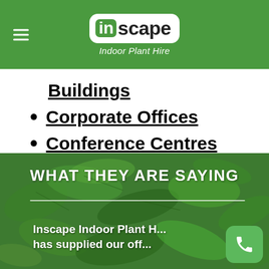inscape Indoor Plant Hire
Buildings
Corporate Offices
Conference Centres
WHAT THEY ARE SAYING
Inscape Indoor Plant H... has supplied our off...